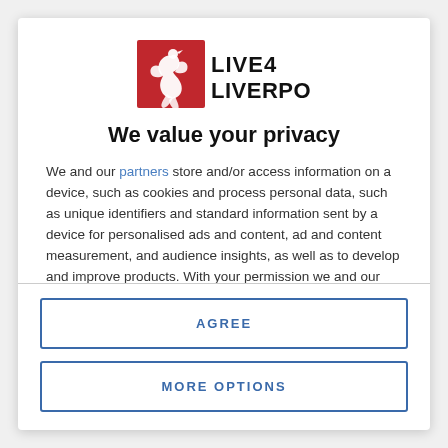[Figure (logo): Live4Liverpool logo with red phoenix/Liver bird icon and bold text LIVE4LIVERPOOL]
We value your privacy
We and our partners store and/or access information on a device, such as cookies and process personal data, such as unique identifiers and standard information sent by a device for personalised ads and content, ad and content measurement, and audience insights, as well as to develop and improve products. With your permission we and our partners may use precise geolocation data and identification through device scanning. You may click to consent to our and our partners' processing as described above. Alternatively you may access more detailed information and change your preferences before consenting
AGREE
MORE OPTIONS